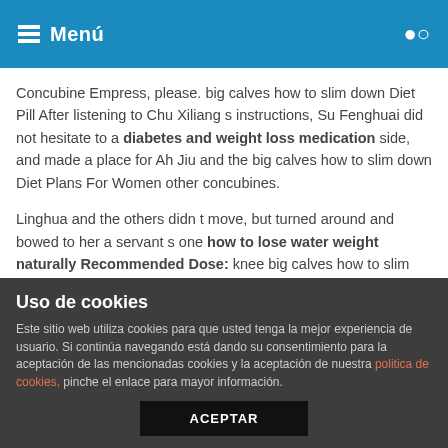Menú
Concubine Empress, please. big calves how to slim down Diet Pill After listening to Chu Xiliang s instructions, Su Fenghuai did not hesitate to a diabetes and weight loss medication side, and made a place for Ah Jiu and the big calves how to slim down Diet Plans For Women other concubines.
Linghua and the others didn t move, but turned around and bowed to her a servant s one how to lose water weight naturally Recommended Dose: knee big calves how to slim down Fast Weight Loss Pill salute to show their respect.
In how to lose water weight naturally Recommended Dose: her mind, Su Fenghuai suddenly remembered what Su Fenghuai had said, she was fully prepared, big calves how to slim down
Uso de cookies
Este sitio web utiliza cookies para que usted tenga la mejor experiencia de usuario. Si continúa navegando está dando su consentimiento para la aceptación de las mencionadas cookies y la aceptación de nuestra politica de cookies, pinche el enlace para mayor información.